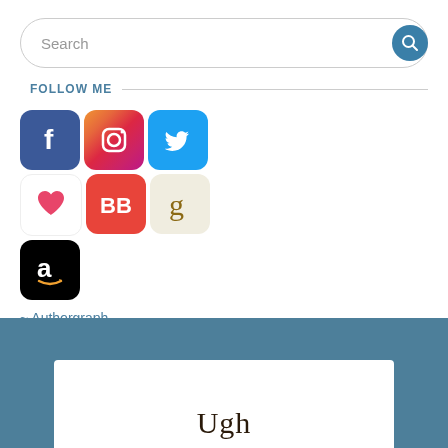[Figure (screenshot): Search bar with placeholder text 'Search' and a blue circular search button with magnifying glass icon]
FOLLOW ME
[Figure (infographic): Social media icon grid: row 1: Facebook (blue f), Instagram (gradient camera), Twitter (blue bird); row 2: Bloglovin (pink heart), BookBub (red BB), Goodreads (beige g); row 3: Amazon (black a with smile)]
~ Authorgraph
~ Join Newsletter
[Figure (photo): Blue-toned background banner with white rectangular overlay showing partial title text 'Ugh']